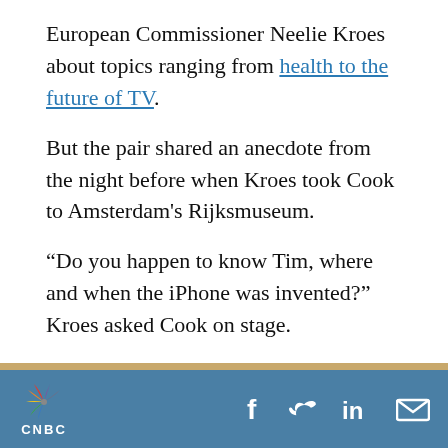European Commissioner Neelie Kroes about topics ranging from health to the future of TV.
But the pair shared an anecdote from the night before when Kroes took Cook to Amsterdam's Rijksmuseum.
“Do you happen to know Tim, where and when the iPhone was invented?” Kroes asked Cook on stage.
The Apple chief executive explained that in one painting at the museum he thought he saw the subject holding an iPhone.
CNBC